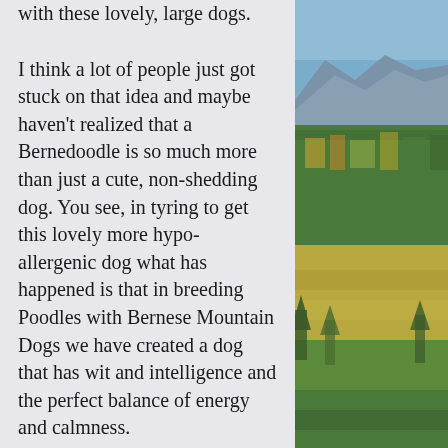with these lovely, large dogs.

I think a lot of people just got stuck on that idea and maybe haven't realized that a Bernedoodle is so much more than just a cute, non-shedding dog. You see, in tyring to get this lovely more hypo-allergenic dog what has happened is that in breeding Poodles with Bernese Mountain Dogs we have created a dog that has wit and intelligence and the perfect balance of energy and calmness.

The Berense Mountain Dog is not generally as quick on its feet, or with its wit, as the Poodle. Poodles are known to be some of the more intelligent dogs in the canine kingdom yet they also have quite a bit of energy. However, when bred with the
[Figure (photo): Outdoor landscape photo showing mountains in the background, a forest of trees with autumn foliage in the middle, and an open field/meadow in the foreground. Blue sky visible at top.]